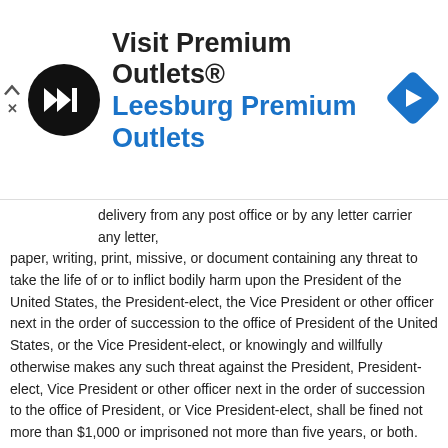[Figure (screenshot): Advertisement banner for Visit Premium Outlets® / Leesburg Premium Outlets with a black circular logo containing a play-forward icon, blue text, and a blue navigation arrow diamond icon on the right.]
delivery from any post office or by any letter carrier any letter, paper, writing, print, missive, or document containing any threat to take the life of or to inflict bodily harm upon the President of the United States, the President-elect, the Vice President or other officer next in the order of succession to the office of President of the United States, or the Vice President-elect, or knowingly and willfully otherwise makes any such threat against the President, President-elect, Vice President or other officer next in the order of succession to the office of President, or Vice President-elect, shall be fined not more than $1,000 or imprisoned not more than five years, or both.
14
Section 2387 provides:
(a) Whoever, with intent to interfere with, impair, or influence the loyalty, morale, or discipline of the military or naval forces of the United States: